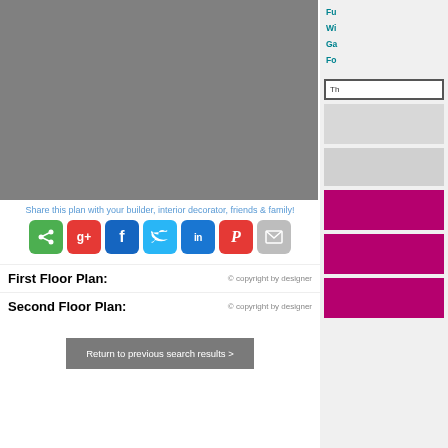[Figure (photo): Gray placeholder image area representing a floor plan view]
Share this plan with your builder, interior decorator, friends & family!
[Figure (infographic): Social sharing icons: share (green), G+ (red), Facebook (blue), Twitter (light blue), LinkedIn (blue), Pinterest (red), Email (gray)]
First Floor Plan:     © copyright by designer
Second Floor Plan:     © copyright by designer
Return to previous search results >
Fu
Wi
Ga
Fo
[Figure (screenshot): Sidebar box with partial text 'Th']
[Figure (other): Sidebar gray placeholder blocks and purple/magenta blocks]